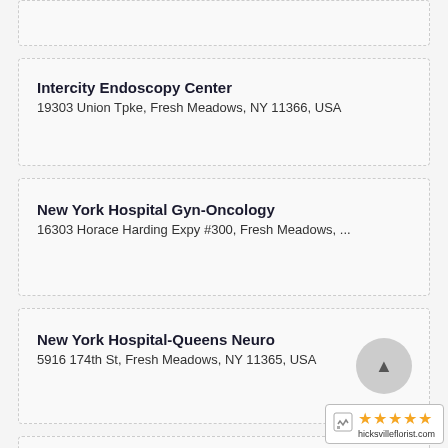(partial card top)
Intercity Endoscopy Center
19303 Union Tpke, Fresh Meadows, NY 11366, USA
New York Hospital Gyn-Oncology
16303 Horace Harding Expy #300, Fresh Meadows, ...
New York Hospital-Queens Neuro
5916 174th St, Fresh Meadows, NY 11365, USA
Queens Cancer Center
(partial address) Fresh Meadows, NY 11365...